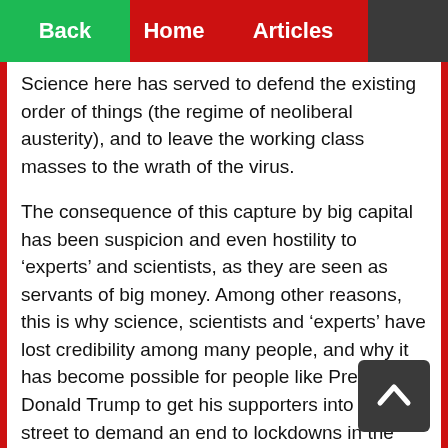Back  Home  Articles
Science here has served to defend the existing order of things (the regime of neoliberal austerity), and to leave the working class masses to the wrath of the virus.
The consequence of this capture by big capital has been suspicion and even hostility to ‘experts’ and scientists, as they are seen as servants of big money. Among other reasons, this is why science, scientists and ‘experts’ have lost credibility among many people, and why it has become possible for people like President Donald Trump to get his supporters into the street to demand an end to lockdowns in the US, even though almost 100 thousand people have died and infections keep rising. In South Africa when the